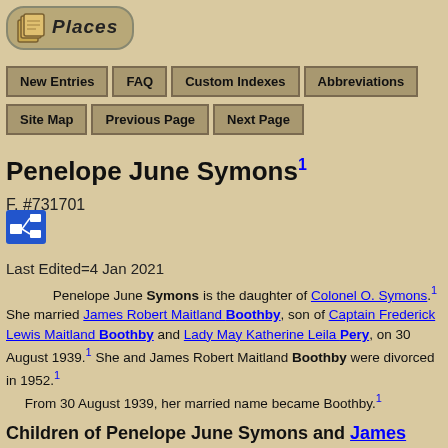[Figure (logo): Places logo with icon and rounded rectangle border]
New Entries
FAQ
Custom Indexes
Abbreviations
Site Map
Previous Page
Next Page
Penelope June Symons1
F, #731701
Last Edited=4 Jan 2021
Penelope June Symons is the daughter of Colonel O. Symons.1 She married James Robert Maitland Boothby, son of Captain Frederick Lewis Maitland Boothby and Lady May Katherine Leila Pery, on 30 August 1939.1 She and James Robert Maitland Boothby were divorced in 1952.1 From 30 August 1939, her married name became Boothby.1
Children of Penelope June Symons and James